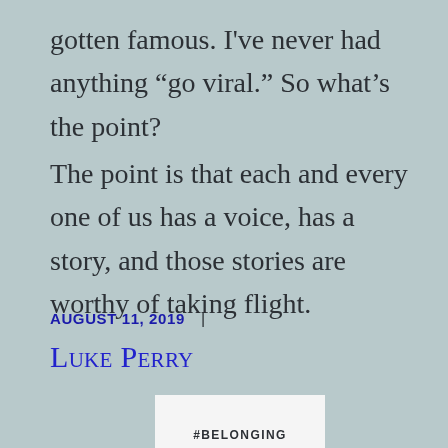gotten famous. I've never had anything “go viral.” So what’s the point?
The point is that each and every one of us has a voice, has a story, and those stories are worthy of taking flight.
AUGUST 11, 2019  |
Luke Perry
[Figure (other): Book cover image with text #BELONGING on a white background]